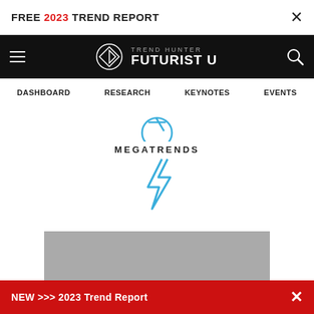FREE 2023 TREND REPORT ×
[Figure (screenshot): Trend Hunter Futurist U navigation bar with hamburger menu, logo, and search icon on black background]
DASHBOARD   RESEARCH   KEYNOTES   EVENTS
[Figure (illustration): Blue circular icon (partially visible at top) and blue lightning bolt icon below text MEGATRENDS]
MEGATRENDS
[Figure (photo): Gray placeholder image area]
NEW >>> 2023 Trend Report ×